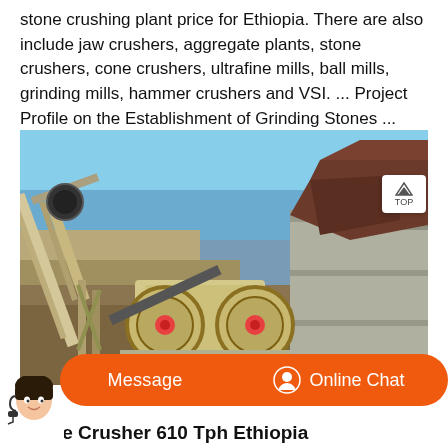stone crushing plant price for Ethiopia. There are also include jaw crushers, aggregate plants, stone crushers, cone crushers, ultrafine mills, ball mills, grinding mills, hammer crushers and VSI. ... Project Profile on the Establishment of Grinding Stones ...
[Figure (photo): Photograph of a stone crusher / jaw crusher machine installed at a quarry site in Ethiopia. The machine shows large flywheels, conveyor belt structure, and concrete retaining walls, under a clear blue sky.]
Message
Online Chat
Stone Crusher 610 Tph Ethiopia